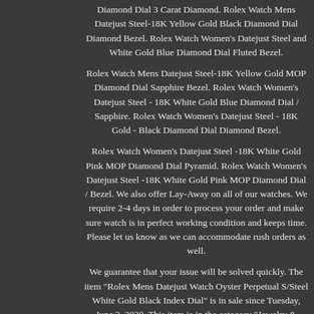Diamond Dial 3 Carat Diamond. Rolex Watch Mens Datejust Steel-18K Yellow Gold Black Diamond Dial Diamond Bezel. Rolex Watch Women's Datejust Steel and White Gold Blue Diamond Dial Fluted Bezel.
Rolex Watch Mens Datejust Steel-18K Yellow Gold MOP Diamond Dial Sapphire Bezel. Rolex Watch Women's Datejust Steel - 18K White Gold Blue Diamond Dial / Sapphire. Rolex Watch Women's Datejust Steel - 18K Gold - Black Diamond Dial Diamond Bezel.
Rolex Watch Women's Datejust Steel -18K White Gold Pink MOP Diamond Dial Pyramid. Rolex Watch Women's Datejust Steel -18K White Gold Pink MOP Diamond Dial / Bezel. We also offer Lay-Away on all of our watches. We require 2-4 days in order to process your order and make sure watch is in perfect working condition and keeps time. Please let us know as we can accommodate rush orders as well.
We guarantee that your issue will be solved quickly. The item "Rolex Mens Datejust Watch Oyster Perpetual S/Steel White Gold Black Index Dial" is in sale since Tuesday, June 2, 2020. This item is in the category "Jewelry & Watches\Watches, Parts & Accessories\Watches\Wristwatches".jewelry" and is located in Los Angeles, California. This item can be